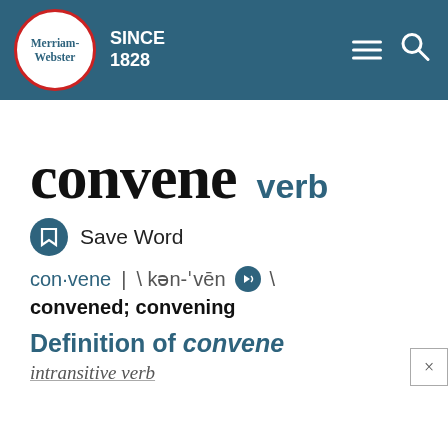Merriam-Webster SINCE 1828
convene verb
Save Word
con·vene | \ kən-ˈvēn \ convened; convening
Definition of convene
intransitive verb